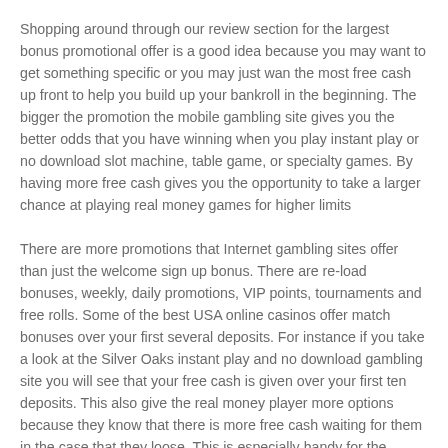Shopping around through our review section for the largest bonus promotional offer is a good idea because you may want to get something specific or you may just wan the most free cash up front to help you build up your bankroll in the beginning. The bigger the promotion the mobile gambling site gives you the better odds that you have winning when you play instant play or no download slot machine, table game, or specialty games. By having more free cash gives you the opportunity to take a larger chance at playing real money games for higher limits
There are more promotions that Internet gambling sites offer than just the welcome sign up bonus. There are re-load bonuses, weekly, daily promotions, VIP points, tournaments and free rolls. Some of the best USA online casinos offer match bonuses over your first several deposits. For instance if you take a look at the Silver Oaks instant play and no download gambling site you will see that your free cash is given over your first ten deposits. This also give the real money player more options because they know that there is more free cash waiting for them in the case that they loose. This is especially handy for the people that play online slot machines for real money because the volatility can